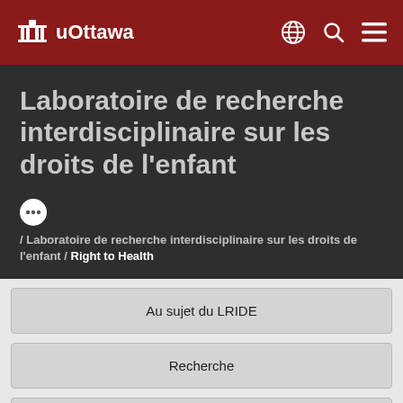u Ottawa
Laboratoire de recherche interdisciplinaire sur les droits de l’enfant
... / Laboratoire de recherche interdisciplinaire sur les droits de l’enfant / Right to Health
Au sujet du LRIDE
Recherche
Cours interdisciplinaire